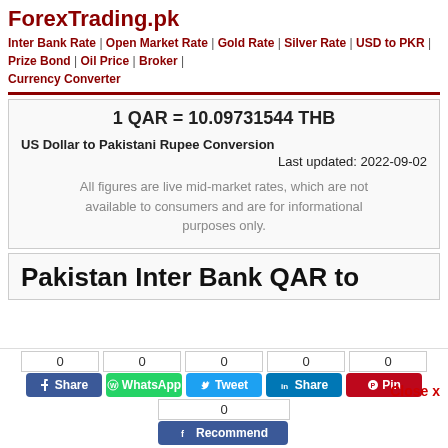ForexTrading.pk
Inter Bank Rate | Open Market Rate | Gold Rate | Silver Rate | USD to PKR | Prize Bond | Oil Price | Broker | Currency Converter
1 QAR = 10.09731544 THB
US Dollar to Pakistani Rupee Conversion
Last updated: 2022-09-02
All figures are live mid-market rates, which are not available to consumers and are for informational purposes only.
Pakistan Inter Bank QAR to